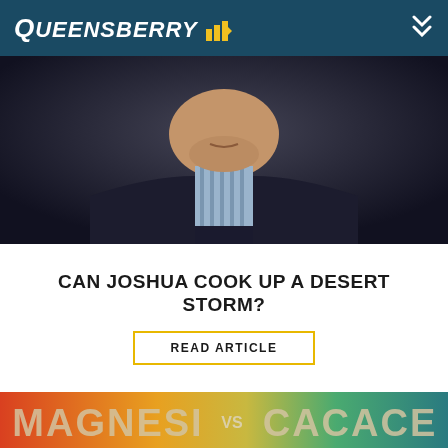Queensberry
[Figure (photo): Close-up photo of an older man in a striped shirt and dark jacket against a dark background]
CAN JOSHUA COOK UP A DESERT STORM?
READ ARTICLE
[Figure (photo): Fight promotion poster: IBD World Super Featherweight Title – Magnesi vs Cacace, fighters shown from back/shoulders with tattoos against colorful red, yellow and green background]